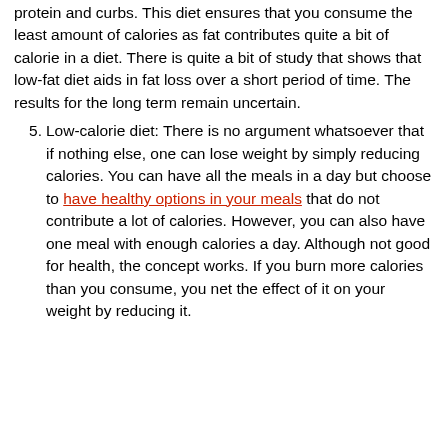protein and curbs. This diet ensures that you consume the least amount of calories as fat contributes quite a bit of calorie in a diet. There is quite a bit of study that shows that low-fat diet aids in fat loss over a short period of time. The results for the long term remain uncertain.
Low-calorie diet: There is no argument whatsoever that if nothing else, one can lose weight by simply reducing calories. You can have all the meals in a day but choose to have healthy options in your meals that do not contribute a lot of calories. However, you can also have one meal with enough calories a day. Although not good for health, the concept works. If you burn more calories than you consume, you net the effect of it on your weight by reducing it.